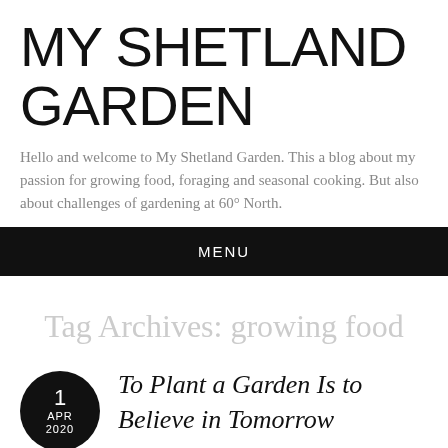MY SHETLAND GARDEN
Hello and welcome to My Shetland Garden. This a blog about my passion for growing food, foraging and seasonal cooking. But also about challenges of gardening at 60° North.
MENU
Tag Archives: growing food
1 APR 2020
To Plant a Garden Is to Believe in Tomorrow